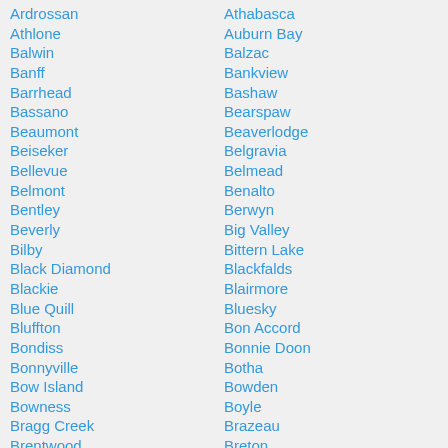Ardrossan
Athlone
Balwin
Banff
Barrhead
Bassano
Beaumont
Beiseker
Bellevue
Belmont
Bentley
Beverly
Bilby
Black Diamond
Blackie
Blue Quill
Bluffton
Bondiss
Bonnyville
Bow Island
Bowness
Bragg Creek
Brentwood
Athabasca
Auburn Bay
Balzac
Bankview
Bashaw
Bearspaw
Beaverlodge
Belgravia
Belmead
Benalto
Berwyn
Big Valley
Bittern Lake
Blackfalds
Blairmore
Bluesky
Bon Accord
Bonnie Doon
Botha
Bowden
Boyle
Brazeau
Breton